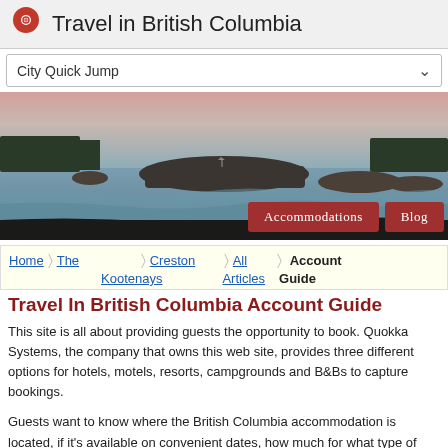Travel in British Columbia
City Quick Jump
[Figure (photo): Coastal BC landscape at dusk with rocky islands, waves, and silhouetted trees against a pink-grey sky, with two red buttons: Accommodations and Blog]
Home > The Kootenays > Creston > All Articles > Account Guide
Travel In British Columbia Account Guide
This site is all about providing guests the opportunity to book. Quokka Systems, the company that owns this web site, provides three different options for hotels, motels, resorts, campgrounds and B&Bs to capture bookings.
Guests want to know where the British Columbia accommodation is located, if it's available on convenient dates, how much for what type of